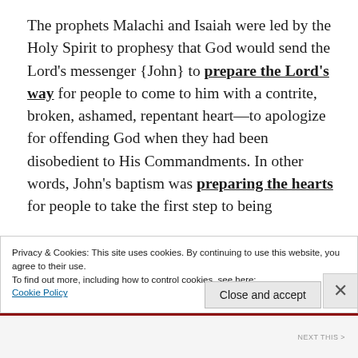The prophets Malachi and Isaiah were led by the Holy Spirit to prophesy that God would send the Lord's messenger {John} to prepare the Lord's way for people to come to him with a contrite, broken, ashamed, repentant heart—to apologize for offending God when they had been disobedient to His Commandments. In other words, John's baptism was preparing the hearts for people to take the first step to being
Privacy & Cookies: This site uses cookies. By continuing to use this website, you agree to their use.
To find out more, including how to control cookies, see here:
Cookie Policy
Close and accept